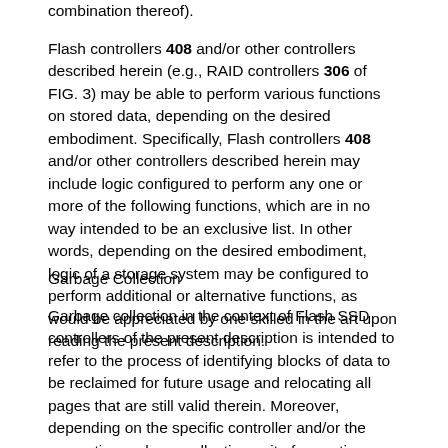combination thereof).
Flash controllers 408 and/or other controllers described herein (e.g., RAID controllers 306 of FIG. 3) may be able to perform various functions on stored data, depending on the desired embodiment. Specifically, Flash controllers 408 and/or other controllers described herein may include logic configured to perform any one or more of the following functions, which are in no way intended to be an exclusive list. In other words, depending on the desired embodiment, logic of a storage system may be configured to perform additional or alternative functions, as would be appreciated by one skilled in the art upon reading the present description.
Garbage Collection
Garbage collection in the context of Flash SSD controllers of the present description is intended to refer to the process of identifying blocks of data to be reclaimed for future usage and relocating all pages that are still valid therein. Moreover, depending on the specific controller and/or the respective garbage collection unit of operation, block-stripes may be identified for being reclaimed and/or